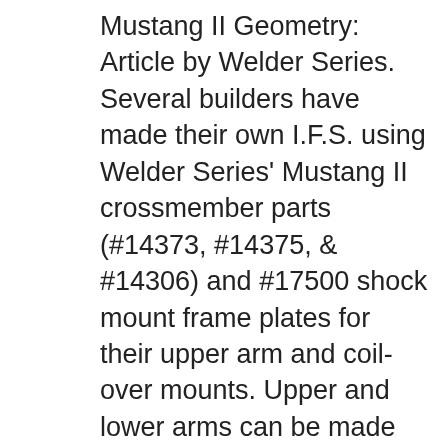Mustang II Geometry: Article by Welder Series. Several builders have made their own I.F.S. using Welder Series' Mustang II crossmember parts (#14373, #14375, & #14306) and #17500 shock mount frame plates for their upper arm and coil-over mounts. Upper and lower arms can be made using #108211 ball joint housings.
We call this crossmember the Uni-Cross because it will work on many different models with many different transmissions. Because of its unique frame mounting system, it will fit cars that have an inside to inside frame width of 26 to 29 inches, not just Mu Jan 18, 2018 · Buy NEW SOUTHWEST SPEED